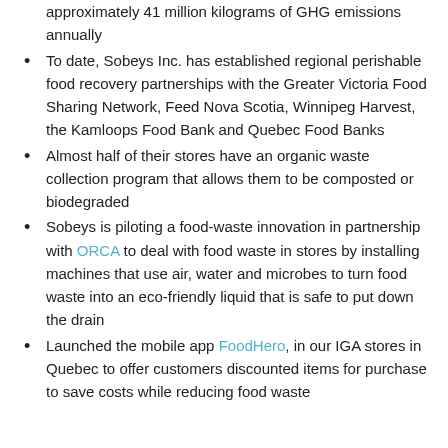approximately 41 million kilograms of GHG emissions annually
To date, Sobeys Inc. has established regional perishable food recovery partnerships with the Greater Victoria Food Sharing Network, Feed Nova Scotia, Winnipeg Harvest, the Kamloops Food Bank and Quebec Food Banks
Almost half of their stores have an organic waste collection program that allows them to be composted or biodegraded
Sobeys is piloting a food-waste innovation in partnership with ORCA to deal with food waste in stores by installing machines that use air, water and microbes to turn food waste into an eco-friendly liquid that is safe to put down the drain
Launched the mobile app FoodHero, in our IGA stores in Quebec to offer customers discounted items for purchase to save costs while reducing food waste